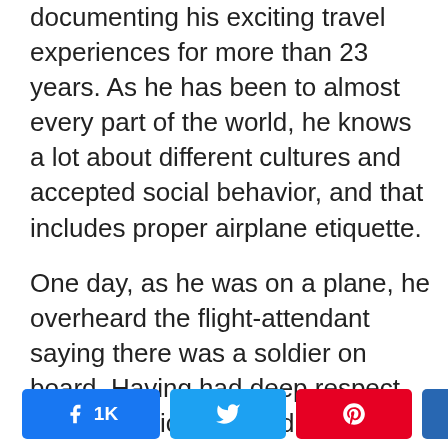documenting his exciting travel experiences for more than 23 years. As he has been to almost every part of the world, he knows a lot about different cultures and accepted social behavior, and that includes proper airplane etiquette.

One day, as he was on a plane, he overheard the flight-attendant saying there was a soldier on board. Having had deep respect for the servicemen and servicewomen who do a lot for the safety of our country and put their lives on the line every single day, he decided to give up his first class seat to the soldier.
[Figure (infographic): Social share bar with Facebook (1K), Twitter, Pinterest, LinkedIn buttons and a share count of 1K SHARES]